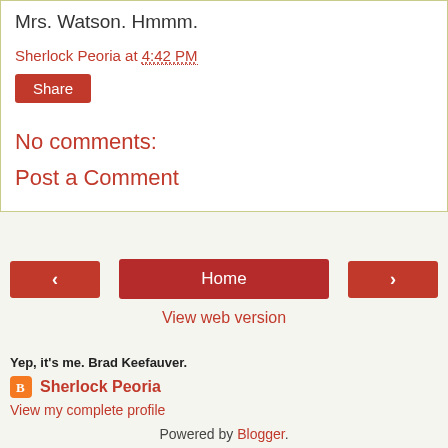Mrs. Watson. Hmmm.
Sherlock Peoria at 4:42 PM
[Figure (other): Red Share button]
No comments:
Post a Comment
[Figure (other): Navigation buttons: left arrow, Home, right arrow]
View web version
Yep, it's me. Brad Keefauver.
Sherlock Peoria
View my complete profile
Powered by Blogger.